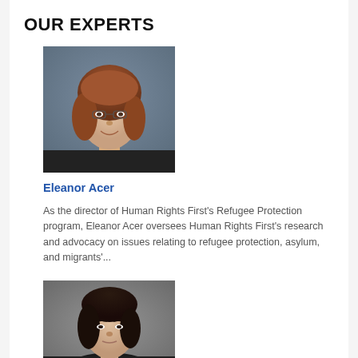OUR EXPERTS
[Figure (photo): Professional headshot of Eleanor Acer, a woman with reddish-brown hair, wearing a dark jacket, against a grey-blue background.]
Eleanor Acer
As the director of Human Rights First’s Refugee Protection program, Eleanor Acer oversees Human Rights First’s research and advocacy on issues relating to refugee protection, asylum, and migrants’...
[Figure (photo): Professional headshot of a woman with dark brown hair, wearing a dark jacket, against a neutral grey background.]